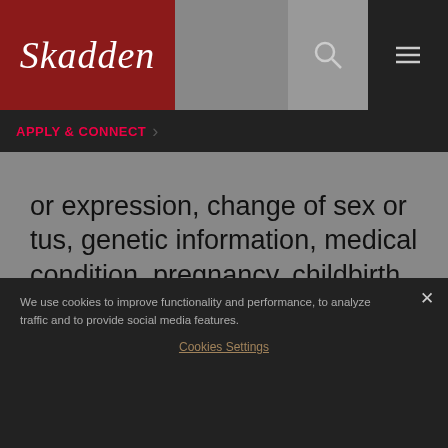[Figure (logo): Skadden law firm logo in white italic serif font on dark red background]
APPLY & CONNECT
or expression, change of sex or 	stus, genetic information, medical condition, pregnancy, childbirth or related medical conditions, sexual and reproductive health decisions, disability (where the applicant or employee is qualified to perform the essential
We use cookies to improve functionality and performance, to analyze traffic and to provide social media features.
Cookies Settings
Reject All Cookies
Accept All Cookies